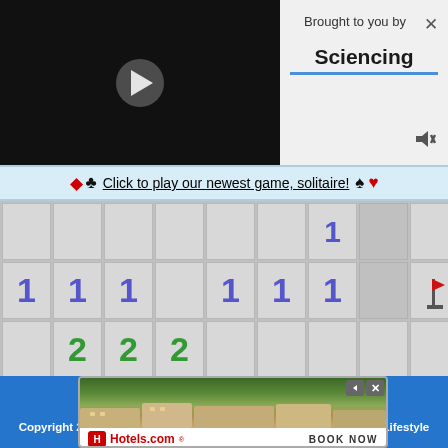[Figure (screenshot): Video player with black background and white play button]
Brought to you by Sciencing
♦ ♣ Click to play our newest game, solitaire! ♠ ♥
[Figure (screenshot): Minesweeper game grid showing cells with numbers 1, 1, 1, 1, 1, 1, 1 in blue/purple and 2, 2, 2 in green, with a flag on one cell]
[Figure (logo): Our Pastimes logo with paper airplane on blue background]
Copyright 2022 Leaf Group Ltd. All Rights Reserved. // Leaf Group Lifestyle
[Figure (screenshot): Hotels.com advertisement banner with resort photo and BOOK NOW button]